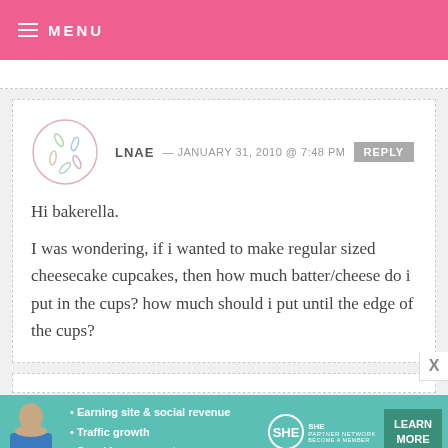MENU
LNAE — JANUARY 31, 2010 @ 7:48 PM  REPLY
Hi bakerella.
I was wondering, if i wanted to make regular sized cheesecake cupcakes, then how much batter/cheese do i put in the cups? how much should i put until the edge of the cups?
[Figure (infographic): SHE Partner Network advertisement banner with photo of person, bullet points: Earning site & social revenue, Traffic growth, Speaking on our stages, and a Learn More button]